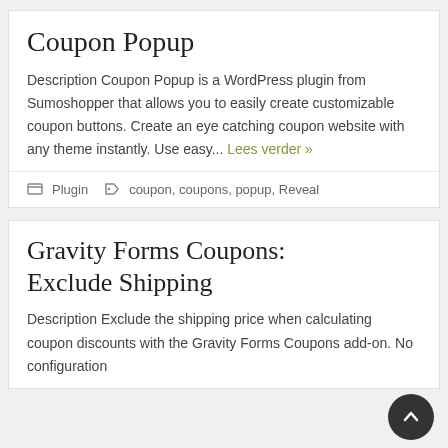Coupon Popup
Description Coupon Popup is a WordPress plugin from Sumoshopper that allows you to easily create customizable coupon buttons. Create an eye catching coupon website with any theme instantly. Use easy... Lees verder »
Plugin  coupon, coupons, popup, Reveal
Gravity Forms Coupons: Exclude Shipping
Description Exclude the shipping price when calculating coupon discounts with the Gravity Forms Coupons add-on. No configuration